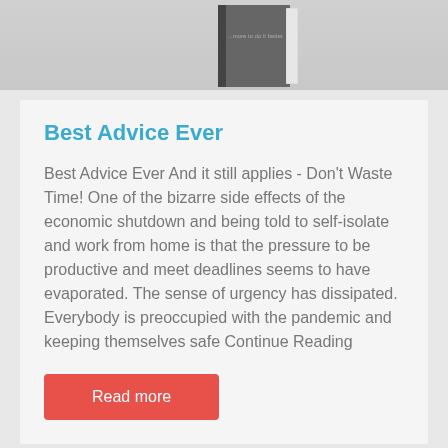[Figure (photo): Top portion of a book cover visible against a light gray background]
Best Advice Ever
Best Advice Ever And it still applies - Don't Waste Time! One of the bizarre side effects of the economic shutdown and being told to self-isolate and work from home is that the pressure to be productive and meet deadlines seems to have evaporated. The sense of urgency has dissipated. Everybody is preoccupied with the pandemic and keeping themselves safe Continue Reading
Read more
[Figure (photo): Bottom portion showing a dark textured surface with orange bar chart elements partially visible]